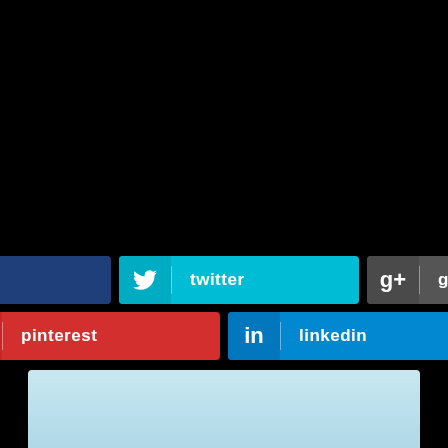[Figure (screenshot): Black background area taking up top ~75% of the page]
facebook
twitter
google
pinterest
linkedin